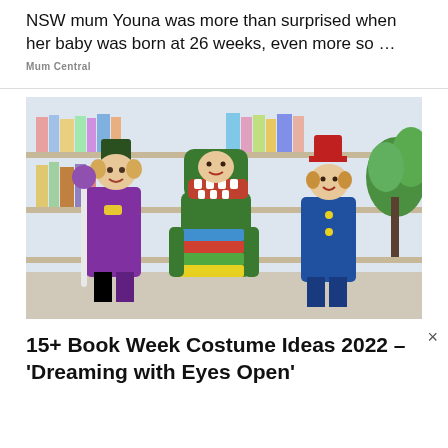NSW mum Youna was more than surprised when her baby was born at 26 weeks, even more so …
Mum Central
[Figure (photo): Three children in costumes standing in front of a bookshelf: left child dressed as Willy Wonka in purple coat and green hat holding a candy cane, middle child in a green dinosaur/T-rex costume holding colorful books, right child dressed as Paddington Bear in a blue coat and red hat.]
15+ Book Week Costume Ideas 2022 – 'Dreaming with Eyes Open'